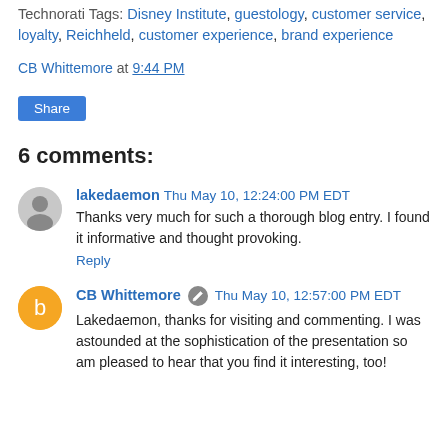Technorati Tags: Disney Institute, guestology, customer service, loyalty, Reichheld, customer experience, brand experience
CB Whittemore at 9:44 PM
Share
6 comments:
lakedaemon Thu May 10, 12:24:00 PM EDT
Thanks very much for such a thorough blog entry. I found it informative and thought provoking.
Reply
CB Whittemore Thu May 10, 12:57:00 PM EDT
Lakedaemon, thanks for visiting and commenting. I was astounded at the sophistication of the presentation so am pleased to hear that you find it interesting, too!